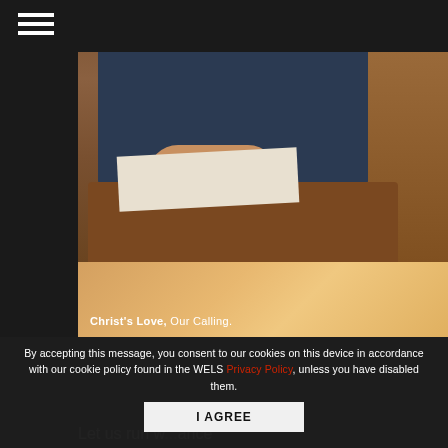[Figure (photo): A pastor in a dark blue suit standing at a wooden lectern/pulpit with an open book (Bible) in a church interior with wooden paneling]
[Figure (photo): Warm, blurred abstract background with text overlay reading 'Christ's Love, Our Calling.']
By accepting this message, you consent to our cookies on this device in accordance with our cookie policy found in the WELS Privacy Policy, unless you have disabled them.
I AGREE
Let us run w...ance